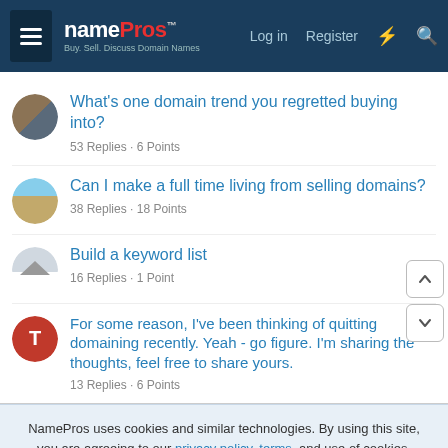[Figure (screenshot): NamePros website header with logo, Log in, Register, lightning icon, and search icon on dark blue background]
What's one domain trend you regretted buying into? 53 Replies · 6 Points
Can I make a full time living from selling domains? 38 Replies · 18 Points
Build a keyword list 16 Replies · 1 Point
For some reason, I've been thinking of quitting domaining recently. Yeah - go figure. I'm sharing the thoughts, feel free to share yours. 13 Replies · 6 Points
NamePros uses cookies and similar technologies. By using this site, you are agreeing to our privacy policy, terms, and use of cookies.